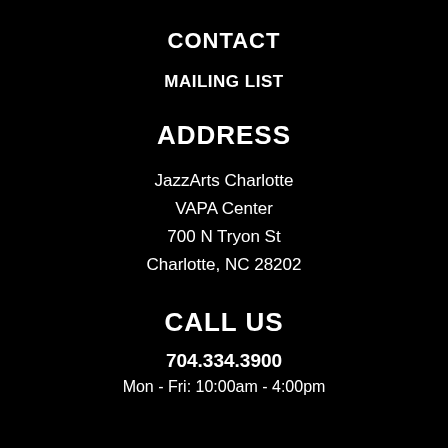CONTACT
MAILING LIST
ADDRESS
JazzArts Charlotte
VAPA Center
700 N Tryon St
Charlotte, NC 28202
CALL US
704.334.3900
Mon - Fri: 10:00am - 4:00pm